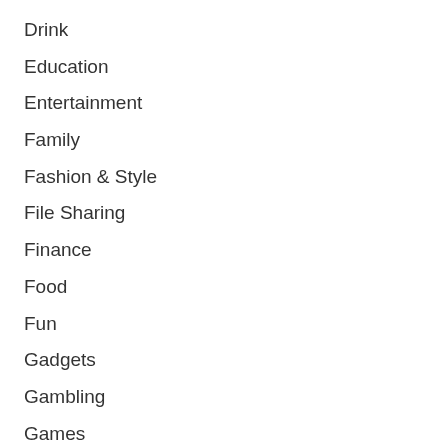Drink
Education
Entertainment
Family
Fashion & Style
File Sharing
Finance
Food
Fun
Gadgets
Gambling
Games
Gaming Gear
Garden
Health